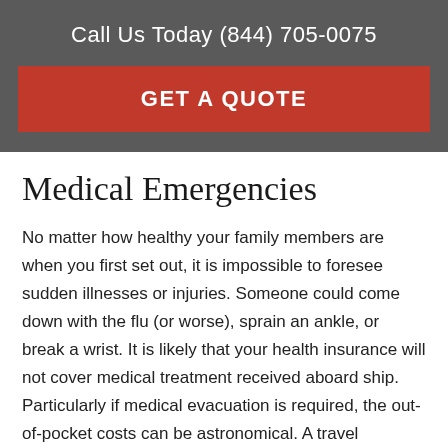Call Us Today (844) 705-0075
GET A QUOTE
Medical Emergencies
No matter how healthy your family members are when you first set out, it is impossible to foresee sudden illnesses or injuries. Someone could come down with the flu (or worse), sprain an ankle, or break a wrist. It is likely that your health insurance will not cover medical treatment received aboard ship. Particularly if medical evacuation is required, the out-of-pocket costs can be astronomical. A travel insurance plan can help cover